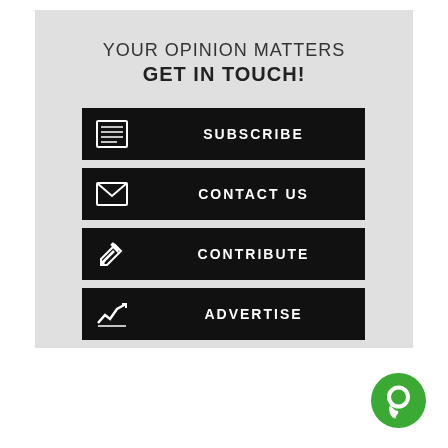YOUR OPINION MATTERS
GET IN TOUCH!
SUBSCRIBE
CONTACT US
CONTRIBUTE
ADVERTISE
[Figure (illustration): Green chat bubble icon in bottom right corner]